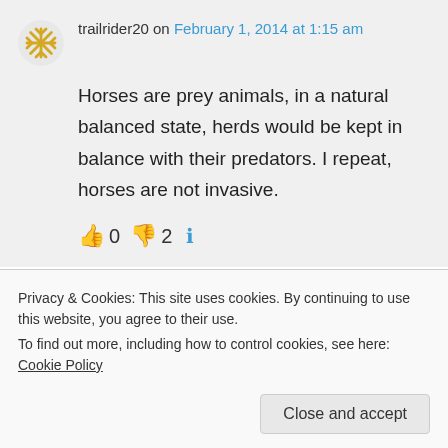trailrider20 on February 1, 2014 at 1:15 am
Horses are prey animals, in a natural balanced state, herds would be kept in balance with their predators. I repeat, horses are not invasive.
👍 0 👎 2 ℹ
Privacy & Cookies: This site uses cookies. By continuing to use this website, you agree to their use. To find out more, including how to control cookies, see here: Cookie Policy
Close and accept